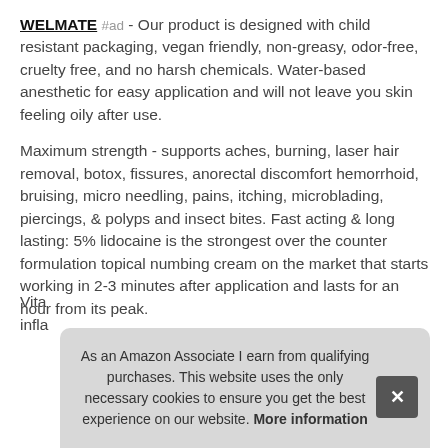WELMATE #ad - Our product is designed with child resistant packaging, vegan friendly, non-greasy, odor-free, cruelty free, and no harsh chemicals. Water-based anesthetic for easy application and will not leave you skin feeling oily after use.
Maximum strength - supports aches, burning, laser hair removal, botox, fissures, anorectal discomfort hemorrhoid, bruising, micro needling, pains, itching, microblading, piercings, & polyps and insect bites. Fast acting & long lasting: 5% lidocaine is the strongest over the counter formulation topical numbing cream on the market that starts working in 2-3 minutes after application and lasts for an hour from its peak.
Vita... infla...
As an Amazon Associate I earn from qualifying purchases. This website uses the only necessary cookies to ensure you get the best experience on our website. More information